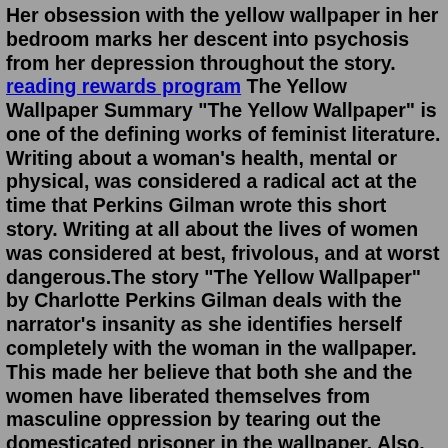Her obsession with the yellow wallpaper in her bedroom marks her descent into psychosis from her depression throughout the story. reading rewards program The Yellow Wallpaper Summary "The Yellow Wallpaper" is one of the defining works of feminist literature. Writing about a woman's health, mental or physical, was considered a radical act at the time that Perkins Gilman wrote this short story. Writing at all about the lives of women was considered at best, frivolous, and at worst dangerous.The story "The Yellow Wallpaper" by Charlotte Perkins Gilman deals with the narrator's insanity as she identifies herself completely with the woman in the wallpaper. This made her believe that both she and the women have liberated themselves from masculine oppression by tearing out the domesticated prisoner in the wallpaper. Also, with ...All this is further explained here. Furthermore, what is the moral of the story The Yellow Wallpaper? The main themes in "The Yellow Wallpaper" are the oppressive nature of gender roles, appearance versus